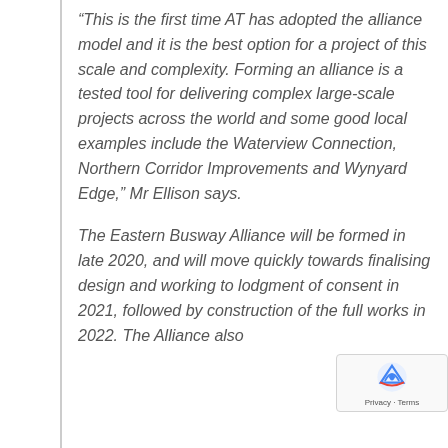“This is the first time AT has adopted the alliance model and it is the best option for a project of this scale and complexity. Forming an alliance is a tested tool for delivering complex large-scale projects across the world and some good local examples include the Waterview Connection, Northern Corridor Improvements and Wynyard Edge,” Mr Ellison says.
The Eastern Busway Alliance will be formed in late 2020, and will move quickly towards finalising design and working to lodgment of consent in 2021, followed by construction of the full works in 2022. The Alliance also